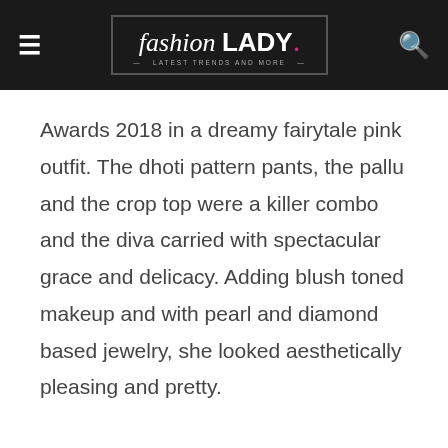fashion LADY · Latest Trends and More
Awards 2018 in a dreamy fairytale pink outfit. The dhoti pattern pants, the pallu and the crop top were a killer combo and the diva carried with spectacular grace and delicacy. Adding blush toned makeup and with pearl and diamond based jewelry, she looked aesthetically pleasing and pretty.